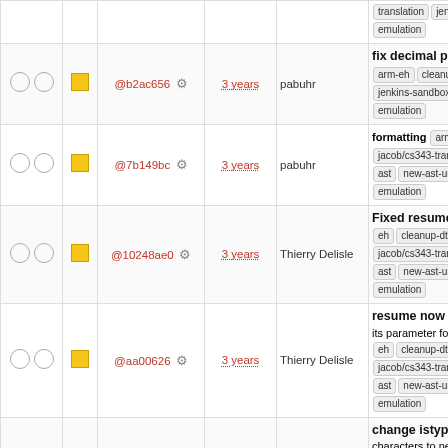| check | status | hash | age | author | description |
| --- | --- | --- | --- | --- | --- |
| ○ ○ | ■ | @b2ac656 | 3 years | pabuhr | fix decimal print for floating | arm-eh cleanup-dtors enum pointer-decay jacob/cs343-translation jenkins-sandbox ast new-ast-unique-expr pthre emulation |
| ○ ○ | ■ | @7b149bc | 3 years | pabuhr | formatting arm-eh cleanup-dtors enum forall-pointer-decay jacob/cs343-translation jenkins-sandbox ast new-ast-unique-expr pthre emulation |
| ○ ○ | ■ | @10248ae0 | 3 years | Thierry Delisle | Fixed resume compilation | eh cleanup-dtors enum fora pointer-decay jacob/cs343-translation jenkins-sandbox ast new-ast-unique-expr pthre emulation |
| ○ ○ | ■ | @aa00626 | 3 years | Thierry Delisle | resume now return a refere its parameter for chainning | eh cleanup-dtors enum fora pointer-decay jacob/cs343-translation jenkins-sandbox ast new-ast-unique-expr pthre emulation |
| ○ ○ | ■ | @3c5dee4 | 3 years | pabuhr | change istype nl to ignore characters to newline, cha ostype to … arm-eh cleanu dtors enum forall-pointer-decay jacob/cs343-translation ast new-ast-unique-expr |